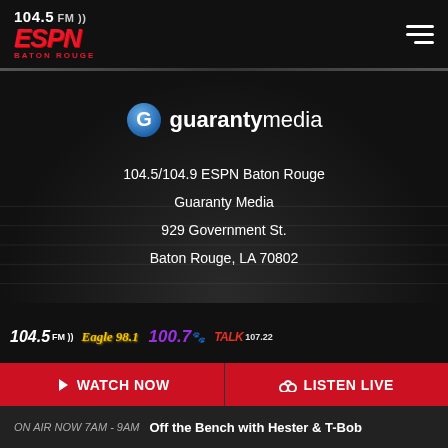104.5 FM ESPN Baton Rouge
[Figure (logo): Guaranty Media logo with blue G icon and 'guaranty media' wordmark]
104.5/104.9 ESPN Baton Rouge
Guaranty Media
929 Government St.
Baton Rouge, LA 70802
[Figure (logo): Station logos: 104.5 FM, Eagle 98.1, 100.7, Talk 107.2]
WATCH NOW
LISTEN LIVE
ON AIR NOW 7AM - 9AM  Off the Bench with Hester & T-Bob